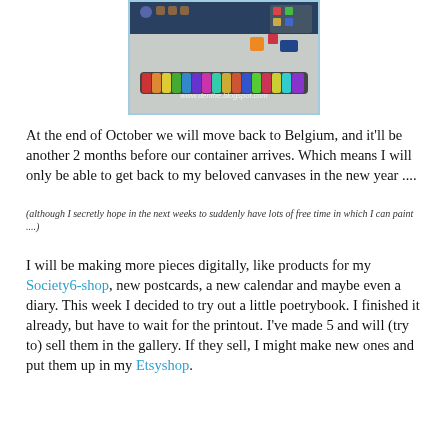[Figure (photo): Photo of colorful polymer clay or fabric pieces arranged on a white surface, including a long snake-like multicolored striped piece. Watermark text: www.denthe.blogspot.com]
At the end of October we will move back to Belgium, and it'll be another 2 months before our container arrives. Which means I will only be able to get back to my beloved canvases in the new year ....
(although I secretly hope in the next weeks to suddenly have lots of free time in which I can paint ....)
I will be making more pieces digitally, like products for my Society6-shop, new postcards, a new calendar and maybe even a diary. This week I decided to try out a little poetrybook. I finished it already, but have to wait for the printout. I've made 5 and will (try to) sell them in the gallery. If they sell, I might make new ones and put them up in my Etsyshop.